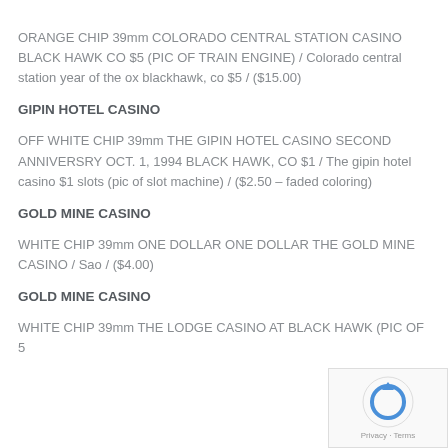ORANGE CHIP 39mm COLORADO CENTRAL STATION CASINO BLACK HAWK CO $5 (PIC OF TRAIN ENGINE) / Colorado central station year of the ox blackhawk, co $5 / ($15.00)
GIPIN HOTEL CASINO
OFF WHITE CHIP 39mm THE GIPIN HOTEL CASINO SECOND ANNIVERSRY OCT. 1, 1994 BLACK HAWK, CO $1 / The gipin hotel casino $1 slots (pic of slot machine) / ($2.50 – faded coloring)
GOLD MINE CASINO
WHITE CHIP 39mm ONE DOLLAR ONE DOLLAR THE GOLD MINE CASINO / Sao / ($4.00)
GOLD MINE CASINO
WHITE CHIP 39mm THE LODGE CASINO AT BLACK HAWK (PIC OF 5